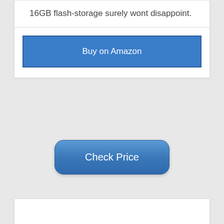16GB flash-storage surely wont disappoint.
Buy on Amazon
Check Price